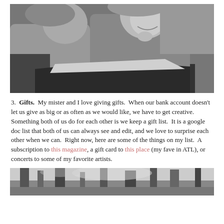[Figure (photo): Black and white photo of two young girls reading a book together, smiling, sitting on a couch or chair.]
3. Gifts. My mister and I love giving gifts. When our bank account doesn't let us give as big or as often as we would like, we have to get creative. Something both of us do for each other is we keep a gift list. It is a google doc list that both of us can always see and edit, and we love to surprise each other when we can. Right now, here are some of the things on my list. A subscription to this magazine, a gift card to this place (my fave in ATL), or concerts to some of my favorite artists.
[Figure (photo): Black and white photo of trees/outdoors scene, partially visible at the bottom of the page.]